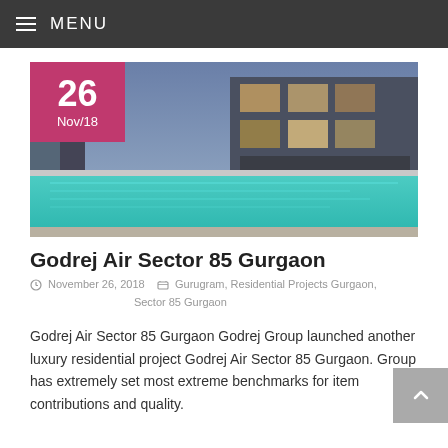MENU
[Figure (photo): Luxury residential property with swimming pool, modern multi-story building with glass facades, date badge showing 26 Nov/18]
Godrej Air Sector 85 Gurgaon
November 26, 2018  Gurugram, Residential Projects Gurgaon, Sector 85 Gurgaon
Godrej Air Sector 85 Gurgaon Godrej Group launched another luxury residential project Godrej Air Sector 85 Gurgaon. Group has extremely set most extreme benchmarks for item contributions and quality.